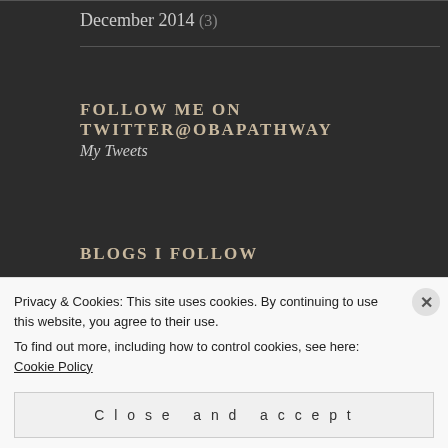December 2014 (3)
FOLLOW ME ON TWITTER@OBAPATHWAY
My Tweets
BLOGS I FOLLOW
[Figure (photo): Two blog thumbnail images side by side: a light teal/mint colored image on the left, and a nature/landscape image with a blue badge marked 'S' on the right]
Privacy & Cookies: This site uses cookies. By continuing to use this website, you agree to their use.
To find out more, including how to control cookies, see here: Cookie Policy
Close and accept